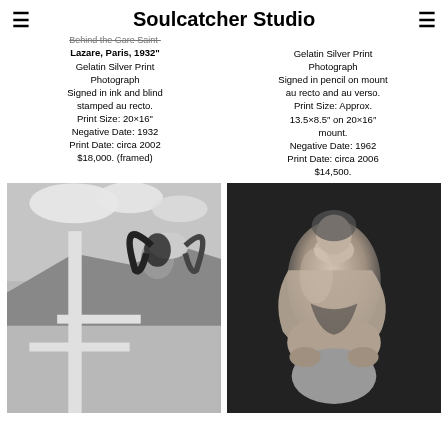Soulcatcher Studio
Behind the Gare Saint-Lazare, Paris, 1932"
Gelatin Silver Print Photograph
Signed in ink and blind stamped au recto.
Print Size: 20×16"
Negative Date: 1932
Print Date: circa 2002
$18,000. (framed)
Gelatin Silver Print Photograph
Signed in pencil on mount au recto and au verso.
Print Size: Approx. 13.5×8.5″ on 20×16″ mount.
Negative Date: 1962
Print Date: circa 2006
$14,500.
[Figure (photo): Black and white photograph of a woman examining an animal skull with large ram horns, standing near a white structure with desert landscape in background, and an older man in denim jacket in the foreground]
[Figure (photo): Black and white artistic nude photograph of a figure crouching, arms wrapped around knees, in a soft-focus style]